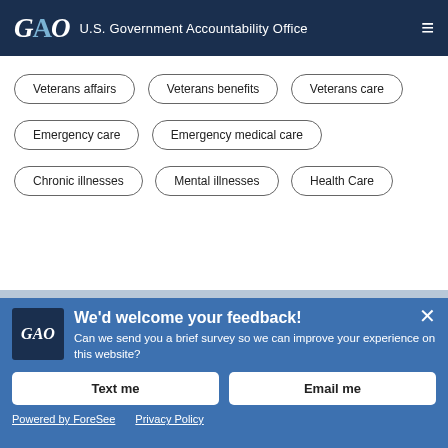GAO U.S. Government Accountability Office
Veterans affairs
Veterans benefits
Veterans care
Emergency care
Emergency medical care
Chronic illnesses
Mental illnesses
Health Care
We'd welcome your feedback! Can we send you a brief survey so we can improve your experience on this website?
Text me
Email me
Powered by ForeSee   Privacy Policy